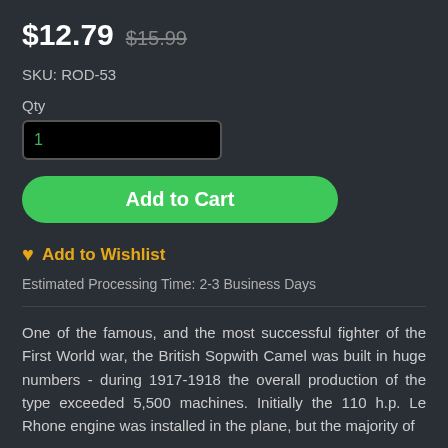$12.79  $15.99
SKU: ROD-53
Qty
1
Add to Cart
♥ Add to Wishlist
Estimated Processing Time: 2-3 Business Days
One of the famous, and the most successful fighter of the First World war, the British Sopwith Camel was built in huge numbers - during 1917-1918 the overall production of the type exceeded 5,500 machines. Initially the 110 h.p. Le Rhone engine was installed in the plane, but the majority of